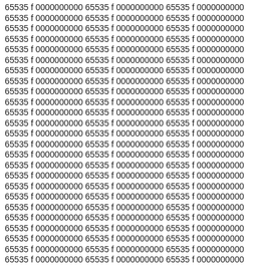65535 f 0000000000 65535 f 0000000000 65535 f 0000000000
65535 f 0000000000 65535 f 0000000000 65535 f 0000000000
65535 f 0000000000 65535 f 0000000000 65535 f 0000000000
65535 f 0000000000 65535 f 0000000000 65535 f 0000000000
65535 f 0000000000 65535 f 0000000000 65535 f 0000000000
65535 f 0000000000 65535 f 0000000000 65535 f 0000000000
65535 f 0000000000 65535 f 0000000000 65535 f 0000000000
65535 f 0000000000 65535 f 0000000000 65535 f 0000000000
65535 f 0000000000 65535 f 0000000000 65535 f 0000000000
65535 f 0000000000 65535 f 0000000000 65535 f 0000000000
65535 f 0000000000 65535 f 0000000000 65535 f 0000000000
65535 f 0000000000 65535 f 0000000000 65535 f 0000000000
65535 f 0000000000 65535 f 0000000000 65535 f 0000000000
65535 f 0000000000 65535 f 0000000000 65535 f 0000000000
65535 f 0000000000 65535 f 0000000000 65535 f 0000000000
65535 f 0000000000 65535 f 0000000000 65535 f 0000000000
65535 f 0000000000 65535 f 0000000000 65535 f 0000000000
65535 f 0000000000 65535 f 0000000000 65535 f 0000000000
65535 f 0000000000 65535 f 0000000000 65535 f 0000000000
65535 f 0000000000 65535 f 0000000000 65535 f 0000000000
65535 f 0000000000 65535 f 0000000000 65535 f 0000000000
65535 f 0000000000 65535 f 0000000000 65535 f 0000000000
65535 f 0000000000 65535 f 0000000000 65535 f 0000000000
65535 f 0000000000 65535 f 0000000000 65535 f 0000000000
65535 f 0000000000 65535 f 0000000000 65535 f 0000000000